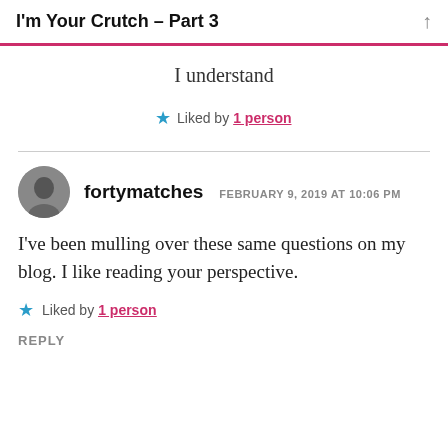I'm Your Crutch – Part 3
I understand
★ Liked by 1 person
fortymatches  FEBRUARY 9, 2019 AT 10:06 PM
I've been mulling over these same questions on my blog. I like reading your perspective.
★ Liked by 1 person
REPLY